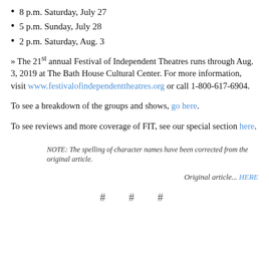8 p.m. Saturday, July 27
5 p.m. Sunday, July 28
2 p.m. Saturday, Aug. 3
» The 21st annual Festival of Independent Theatres runs through Aug. 3, 2019 at The Bath House Cultural Center. For more information, visit www.festivalofindependenttheatres.org or call 1-800-617-6904.
To see a breakdown of the groups and shows, go here.
To see reviews and more coverage of FIT, see our special section here.
NOTE: The spelling of character names have been corrected from the original article.
Original article... HERE
# # #